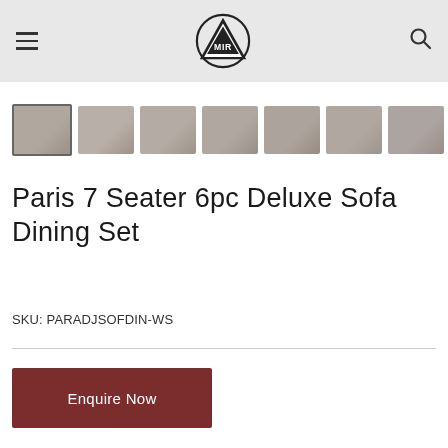MIR Logo, hamburger menu, search icon
[Figure (photo): Row of 7 thumbnail images of a rattan/wicker outdoor sofa dining set from different angles, first thumbnail is selected/highlighted with a border]
Paris 7 Seater 6pc Deluxe Sofa Dining Set
SKU: PARADJSOFDIN-WS
Enquire Now